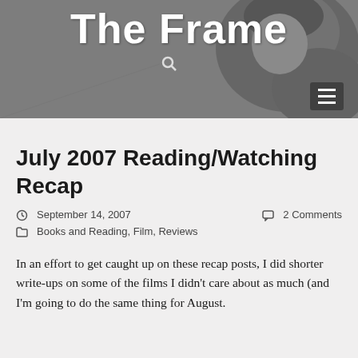[Figure (photo): Black and white header banner photo of a woman reading, with the blog title 'The Frame' overlaid in large white bold text, a search icon, and a hamburger menu icon.]
July 2007 Reading/Watching Recap
September 14, 2007   2 Comments
Books and Reading, Film, Reviews
In an effort to get caught up on these recap posts, I did shorter write-ups on some of the films I didn't care about as much (and I'm going to do the same thing for August.